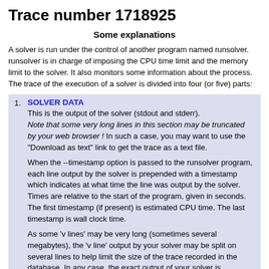Trace number 1718925
Some explanations
A solver is run under the control of another program named runsolver. runsolver is in charge of imposing the CPU time limit and the memory limit to the solver. It also monitors some information about the process. The trace of the execution of a solver is divided into four (or five) parts:
SOLVER DATA
This is the output of the solver (stdout and stderr).
Note that some very long lines in this section may be truncated by your web browser ! In such a case, you may want to use the "Download as text" link to get the trace as a text file.

When the --timestamp option is passed to the runsolver program, each line output by the solver is prepended with a timestamp which indicates at what time the line was output by the solver. Times are relative to the start of the program, given in seconds. The first timestamp (if present) is estimated CPU time. The last timestamp is wall clock time.

As some 'v lines' may be very long (sometimes several megabytes), the 'v line' output by your solver may be split on several lines to help limit the size of the trace recorded in the database. In any case, the exact output of your solver is preserved in a trace file.
VERIFIER DATA
The output of the solver is piped to a verifier program which will